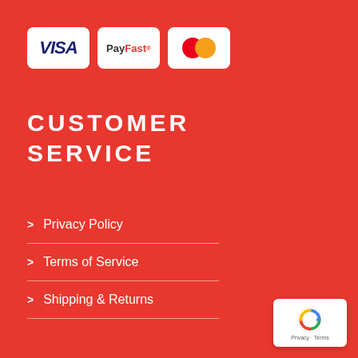[Figure (logo): Three payment logos: VISA, PayFast, and Mastercard, each on a white rounded card]
CUSTOMER SERVICE
Privacy Policy
Terms of Service
Shipping & Returns
[Figure (logo): Google reCAPTCHA badge with Privacy and Terms links]